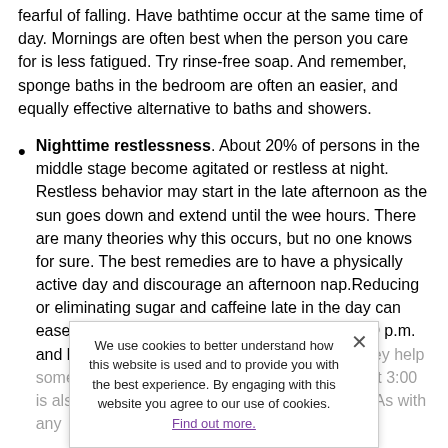fearful of falling. Have bathtime occur at the same time of day. Mornings are often best when the person you care for is less fatigued. Try rinse-free soap. And remember, sponge baths in the bedroom are often an easier, and equally effective alternative to baths and showers.
Nighttime restlessness. About 20% of persons in the middle stage become agitated or restless at night. Restless behavior may start in the late afternoon as the sun goes down and extend until the wee hours. There are many theories why this occurs, but no one knows for sure. The best remedies are to have a physically active day and discourage an afternoon nap.Reducing or eliminating sugar and caffeine late in the day can ease restlessness. Turning on lights around 3:00 p.m. and leaving them on low throughout the night they help some people find closing the blinds or curtains at 3:00 is also helpful. If nighttime restlessness per[...] doctor. As with any
We use cookies to better understand how this website is used and to provide you with the best experience. By engaging with this website you agree to our use of cookies. Find out more.